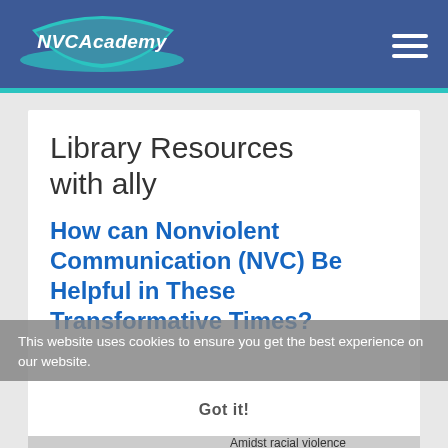NVCAcademy
Library Resources with ally
How can Nonviolent Communication (NVC) Be Helpful in These Transformative Times?
This website uses cookies to ensure you get the best experience on our website.
Got it!
Amidst racial violence